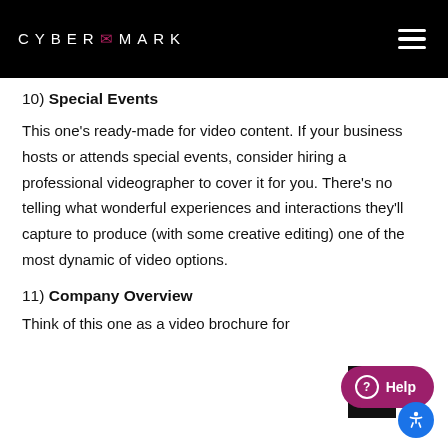CYBERMARK
10) Special Events
This one’s ready-made for video content. If your business hosts or attends special events, consider hiring a professional videographer to cover it for you. There’s no telling what wonderful experiences and interactions they’ll capture to produce (with some creative editing) one of the most dynamic of video options.
11) Company Overview
Think of this one as a video brochure for